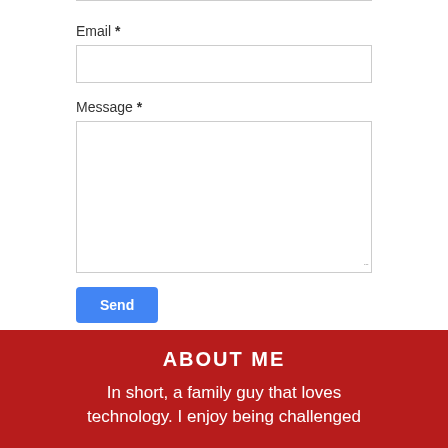Email *
[Figure (screenshot): Email input text box (empty, bordered)]
Message *
[Figure (screenshot): Message textarea (empty, bordered, resizable)]
Send
ABOUT ME
In short, a family guy that loves technology. I enjoy being challenged